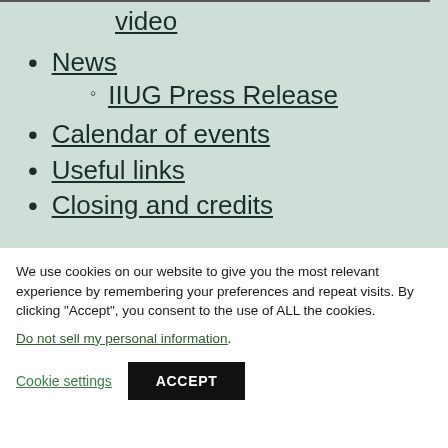video
News
IIUG Press Release
Calendar of events
Useful links
Closing and credits
We use cookies on our website to give you the most relevant experience by remembering your preferences and repeat visits. By clicking “Accept”, you consent to the use of ALL the cookies.
Do not sell my personal information.
Cookie settings
ACCEPT